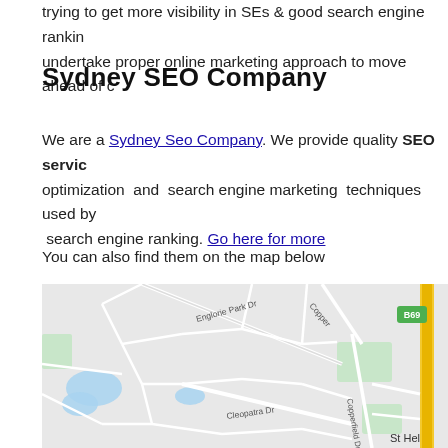trying to get more visibility in SEs & good search engine ranking undertake proper online marketing approach to move ahead of c
Sydney SEO Company
We are a Sydney Seo Company. We provide quality SEO services, optimization and search engine marketing techniques used by search engine ranking. Go here for more
You can also find them on the map below
[Figure (map): Google Maps view showing a suburban area with streets including Englorie Park Dr, Cleopatra Dr, Copperfield Dr, Copper road, and a highway with route marker B69. Location appears to be near St Helens area.]